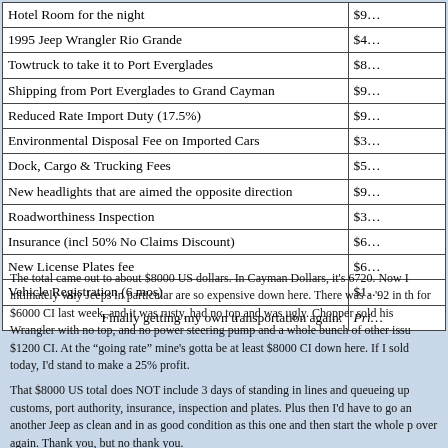| Item | Cost |
| --- | --- |
| Hotel Room for the night | $9... |
| 1995 Jeep Wrangler Rio Grande | $4... |
| Towtruck to take it to Port Everglades | $8... |
| Shipping from Port Everglades to Grand Cayman | $9... |
| Reduced Rate Import Duty (17.5%) | $9... |
| Environmental Disposal Fee on Imported Cars | $3... |
| Dock, Cargo & Trucking Fees | $5... |
| New headlights that are aimed the opposite direction | $9... |
| Roadworthiness Inspection | $3... |
| Insurance (incl 50% No Claims Discount) | $6... |
| New License Plates fee | $6... |
| Vehicle Registration (6 mos) | $1... |
| Finally getting my own transportation again: | Pri... |
The total came out to about $8000 US dollars. In Cayman Dollars, it's 6720. Now I intimately why Jeeps in particular are so expensive down here. There was a '92 in th for $6000 CI last week, and it was rusty, had no top and was ugly. Chopper sold his Wrangler with no top, and no power steering pump and a whole bunch of other issu $1200 CI. At the "going rate" mine's gotta be at least $8000 CI down here. If I sol today, I'd stand to make a 25% profit.
That $8000 US total does NOT include 3 days of standing in lines and queueing up customs, port authority, insurance, inspection and plates. Plus then I'd have to go an another Jeep as clean and in as good condition as this one and then start the whole p over again. Thank you, but no thank you.